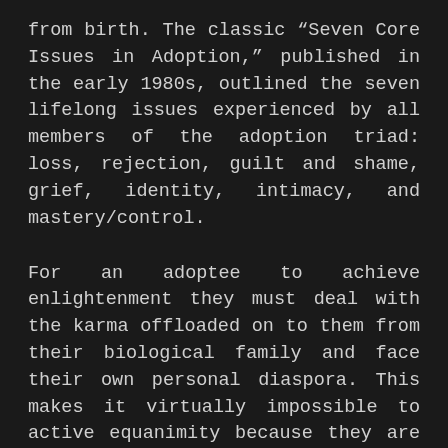from birth. The classic "Seven Core Issues in Adoption," published in the early 1980s, outlined the seven lifelong issues experienced by all members of the adoption triad: loss, rejection, guilt and shame, grief, identity, intimacy, and mastery/control.
For an adoptee to achieve enlightenment they must deal with the karma offloaded on to them from their biological family and face their own personal diaspora. This makes it virtually impossible to active equanimity because they are mentally, emotionally and socially stuck in a